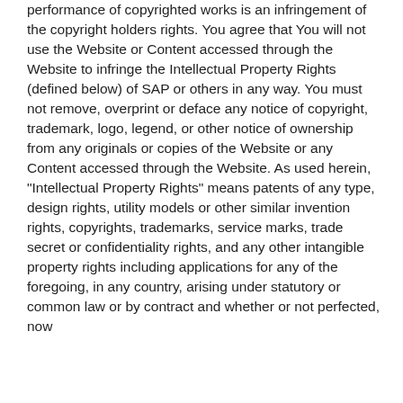performance of copyrighted works is an infringement of the copyright holders rights. You agree that You will not use the Website or Content accessed through the Website to infringe the Intellectual Property Rights (defined below) of SAP or others in any way. You must not remove, overprint or deface any notice of copyright, trademark, logo, legend, or other notice of ownership from any originals or copies of the Website or any Content accessed through the Website. As used herein, "Intellectual Property Rights" means patents of any type, design rights, utility models or other similar invention rights, copyrights, trademarks, service marks, trade secret or confidentiality rights, and any other intangible property rights including applications for any of the foregoing, in any country, arising under statutory or common law or by contract and whether or not perfected, now